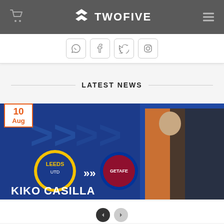TWOFIVE
LATEST NEWS
[Figure (photo): Sports news banner showing Kiko Casilla transfer from Leeds United to Getafe CF. Blue background with club logos and player in orange goalkeeper kit.]
KIKO CASILLA TO GETAFE CF!